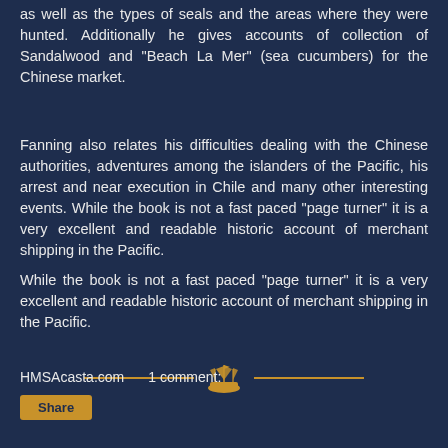as well as the types of seals and the areas where they were hunted. Additionally he gives accounts of collection of Sandalwood and "Beach La Mer" (sea cucumbers) for the Chinese market.
Fanning also relates his difficulties dealing with the Chinese authorities, adventures among the islanders of the Pacific, his arrest and near execution in Chile and many other interesting events. While the book is not a fast paced "page turner" it is a very excellent and readable historic account of merchant shipping in the Pacific.
While the book is not a fast paced "page turner" it is a very excellent and readable historic account of merchant shipping in the Pacific.
[Figure (illustration): Decorative horizontal divider with two gold horizontal lines flanking a central gold sailing ship illustration]
HMSAcasta.com    1 comment: